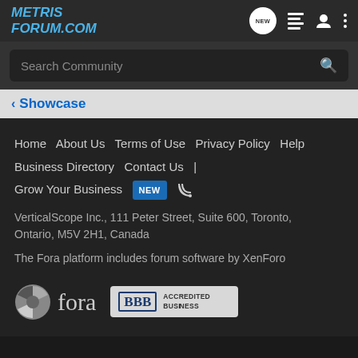METRIS FORUM.COM
Search Community
< Showcase
Home   About Us   Terms of Use   Privacy Policy   Help   Business Directory   Contact Us   |   Grow Your Business  NEW  RSS
VerticalScope Inc., 111 Peter Street, Suite 600, Toronto, Ontario, M5V 2H1, Canada
The Fora platform includes forum software by XenForo
[Figure (logo): Fora logo (globe icon and fora wordmark) and BBB Accredited Business badge]